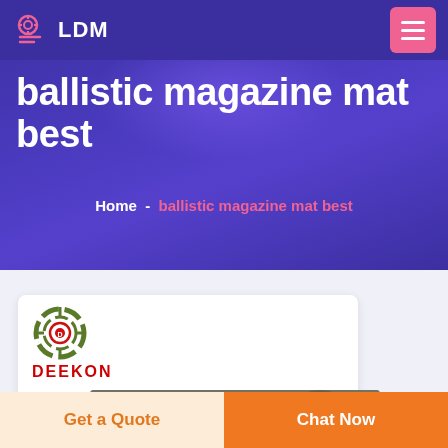LDM
ballistic magazine mat best
Home  -  ballistic magazine mat best
[Figure (logo): DEEKON brand logo with circular target/crosshair icon in green and red, with bold red DEEKON text below, above a camouflage tactical gear product image]
Get a Quote
Chat Now